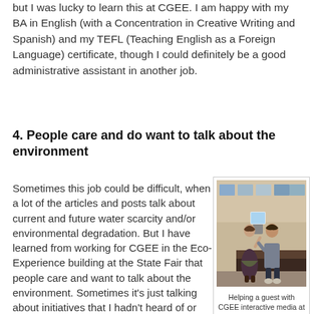but I was lucky to learn this at CGEE. I am happy with my BA in English (with a Concentration in Creative Writing and Spanish) and my TEFL (Teaching English as a Foreign Language) certificate, though I could definitely be a good administrative assistant in another job.
4. People care and do want to talk about the environment
Sometimes this job could be difficult, when a lot of the articles and posts talk about current and future water scarcity and/or environmental degradation. But I have learned from working for CGEE in the Eco-Experience building at the State Fair that people care and want to talk about the environment. Sometimes it's just talking about initiatives that I hadn't heard of or wanting to be involved on a governmental level. But it shows that there are people
[Figure (photo): Two people at an interactive media display at the CGEE 24th Anniversary Celebration. A woman in a dark top and skirt stands next to a man in a grey hoodie, both looking at a screen/tablet on a stand.]
Helping a guest with CGEE interactive media at the 24th Anniversary Celebration